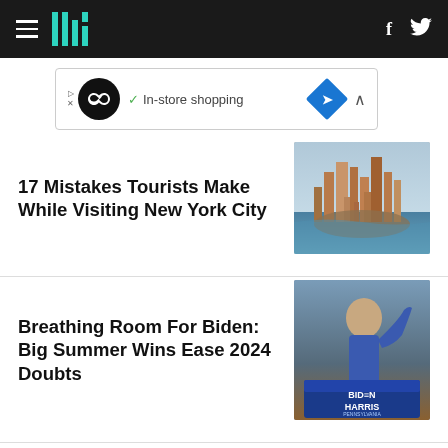HuffPost navigation header with hamburger menu, logo, facebook and twitter icons
[Figure (screenshot): Advertisement banner with infinity loop logo, checkmark, In-store shopping text, blue diamond navigation icon]
17 Mistakes Tourists Make While Visiting New York City
[Figure (photo): Aerial photograph of lower Manhattan / New York City skyline surrounded by water]
Breathing Room For Biden: Big Summer Wins Ease 2024 Doubts
[Figure (photo): Photo of Joe Biden waving in front of a Biden Harris Pennsylvania campaign sign]